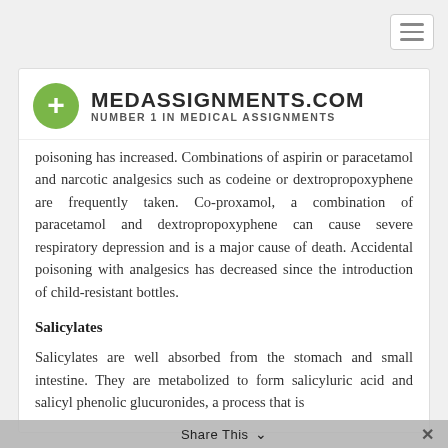[Figure (logo): MedAssignments.com logo with green circle plus sign and text MEDASSIGNMENTS.COM NUMBER 1 IN MEDICAL ASSIGNMENTS]
poisoning has increased. Combinations of aspirin or paracetamol and narcotic analgesics such as codeine or dextropropoxyphene are frequently taken. Co-proxamol, a combination of paracetamol and dextropropoxyphene can cause severe respiratory depression and is a major cause of death. Accidental poisoning with analgesics has decreased since the introduction of child-resistant bottles.
Salicylates
Salicylates are well absorbed from the stomach and small intestine. They are metabolized to form salicyluric acid and salicyl phenolic glucuronides, a process that is
Share This